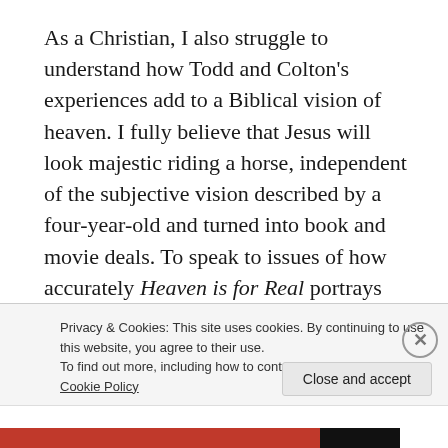As a Christian, I also struggle to understand how Todd and Colton's experiences add to a Biblical vision of heaven. I fully believe that Jesus will look majestic riding a horse, independent of the subjective vision described by a four-year-old and turned into book and movie deals. To speak to issues of how accurately Heaven is for Real portrays heaven and pastors, I recruited one of my college roommates (JJ). He is now an incredible pastor in the midwest who I greatly respect. Here are his (mostly) unedited thoughts.
Reflections of Pastoral...
Privacy & Cookies: This site uses cookies. By continuing to use this website, you agree to their use.
To find out more, including how to control cookies, see here: Cookie Policy